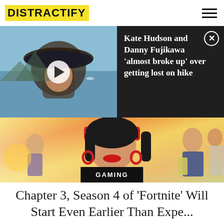DISTRACTIFY
[Figure (screenshot): Video thumbnail showing a person wearing a wide-brim hat outdoors near water, with a white play button overlay]
Kate Hudson and Danny Fujikawa 'almost broke up' over getting lost on hike
[Figure (illustration): Fortnite game artwork showing an anime-style female character with red sunglasses and other game characters in a colorful scene]
GAMING
Chapter 3, Season 4 of 'Fortnite' Will Start Even Earlier Than Expe...